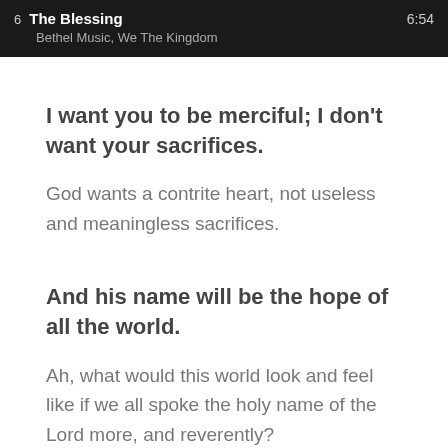[Figure (screenshot): Music player bar showing track 6 'The Blessing' by Bethel Music, We The Kingdom with duration 6:54]
I want you to be merciful; I don't want your sacrifices.
God wants a contrite heart, not useless and meaningless sacrifices.
And his name will be the hope of all the world.
Ah, what would this world look and feel like if we all spoke the holy name of the Lord more, and reverently?